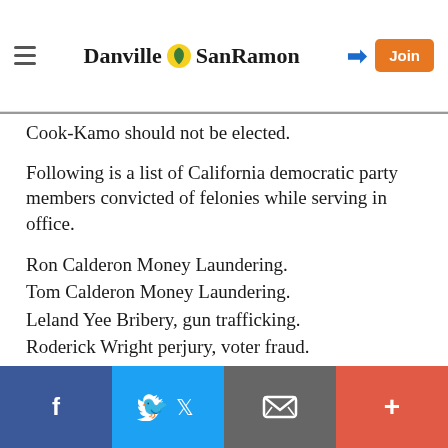Danville SanRamon
Cook-Kamo should not be elected.
Following is a list of California democratic party members convicted of felonies while serving in office.
Ron Calderon Money Laundering.
Tom Calderon Money Laundering.
Leland Yee Bribery, gun trafficking.
Roderick Wright perjury, voter fraud.
Mary Hayashi felony grand theft.
Bob Filner Mayor San Diego false imprisonment and battery.
Report Objectionable Content
f  twitter  email  +